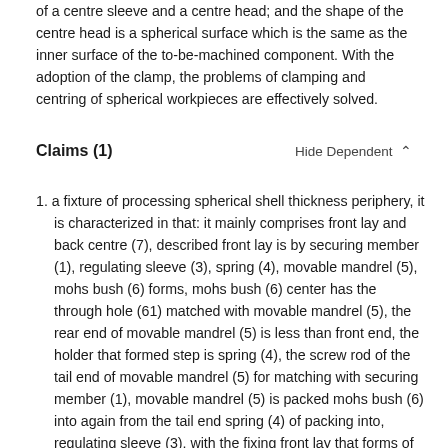of a centre sleeve and a centre head; and the shape of the centre head is a spherical surface which is the same as the inner surface of the to-be-machined component. With the adoption of the clamp, the problems of clamping and centring of spherical workpieces are effectively solved.
Claims (1)
Hide Dependent ∧
1. a fixture of processing spherical shell thickness periphery, it is characterized in that: it mainly comprises front lay and back centre (7), described front lay is by securing member (1), regulating sleeve (3), spring (4), movable mandrel (5), mohs bush (6) forms, mohs bush (6) center has the through hole (61) matched with movable mandrel (5), the rear end of movable mandrel (5) is less than front end, the holder that formed step is spring (4), the screw rod of the tail end of movable mandrel (5) for matching with securing member (1), movable mandrel (5) is packed mohs bush (6) into again from the tail end spring (4) of packing into, regulating sleeve (3), with the fixing front lay that forms of securing member (1), being shaped as and the part to be processed sphere that the convex surface shape matches outward of movable mandrel (5) upper surface, distance between